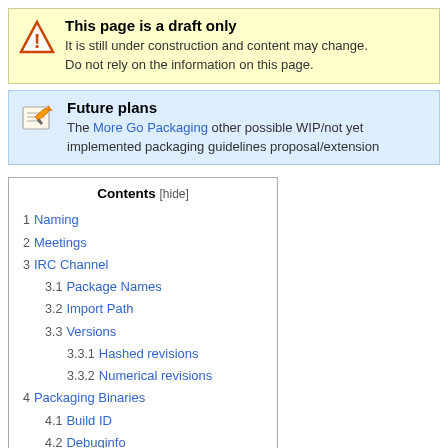This page is a draft only
It is still under construction and content may change. Do not rely on the information on this page.
Future plans
The More Go Packaging other possible WIP/not yet implemented packaging guidelines proposal/extension
Contents [hide]
1 Naming
2 Meetings
3 IRC Channel
3.1 Package Names
3.2 Import Path
3.3 Versions
3.3.1 Hashed revisions
3.3.2 Numerical revisions
4 Packaging Binaries
4.1 Build ID
4.2 Debuginfo
4.3 Dependencies